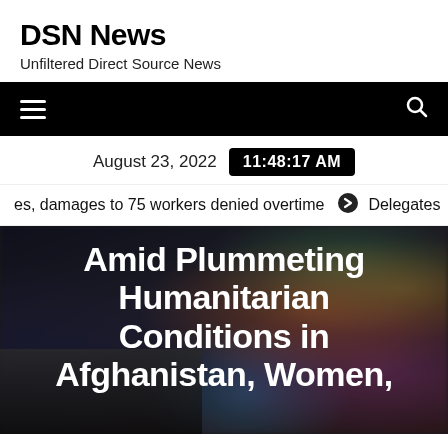DSN News
Unfiltered Direct Source News
Navigation bar with hamburger menu and search icon
August 23, 2022  11:48:17 AM
es, damages to 75 workers denied overtime  ➔  Delegates
Amid Plummeting Humanitarian Conditions in Afghanistan, Women,